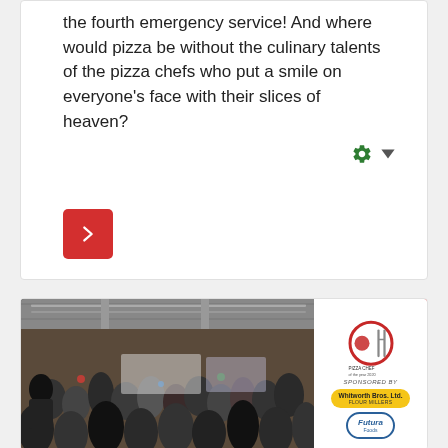the fourth emergency service! And where would pizza be without the culinary talents of the pizza chefs who put a smile on everyone's face with their slices of heaven?
[Figure (screenshot): A gear/settings icon in green with a dropdown arrow, and a red forward-arrow button below it]
[Figure (photo): Photo of a large indoor exhibition hall filled with a crowd of people watching a pizza chef demonstration. On the right side is a Pizza Chef of the Year award panel showing sponsors: Whitworth Bros. Ltd Flour Millers and Futura Foods.]